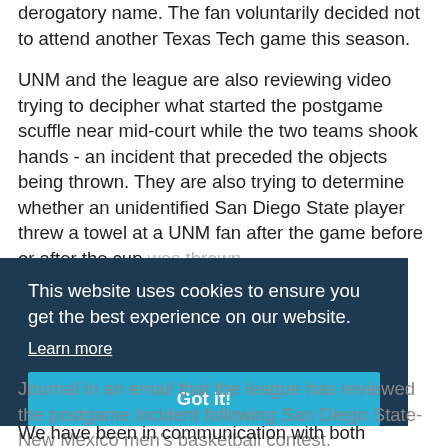derogatory name. The fan voluntarily decided not to attend another Texas Tech game this season.
UNM and the league are also reviewing video trying to decipher what started the postgame scuffle near mid-court while the two teams shook hands - an incident that preceded the objects being thrown. They are also trying to determine whether an unidentified San Diego State player threw a towel at a UNM fan after the game before or after the cup was thrown.
[Figure (screenshot): Cookie consent overlay banner with dark navy background. Text reads: 'This website uses cookies to ensure you get the best experience on our website.' With a 'Learn more' link and a cyan 'Got it!' button.]
Commissioner Kim Melcher responded to the Journal in an email that the league has reviewed the postgame incident following San Diego State-New Mexico men's basketball contest.
We have been in communication with both